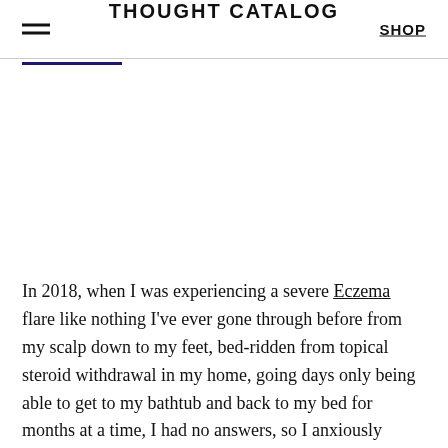THOUGHT CATALOG  SHOP
In 2018, when I was experiencing a severe Eczema flare like nothing I've ever gone through before from my scalp down to my feet, bed-ridden from topical steroid withdrawal in my home, going days only being able to get to my bathtub and back to my bed for months at a time, I had no answers, so I anxiously searched for them on the internet.